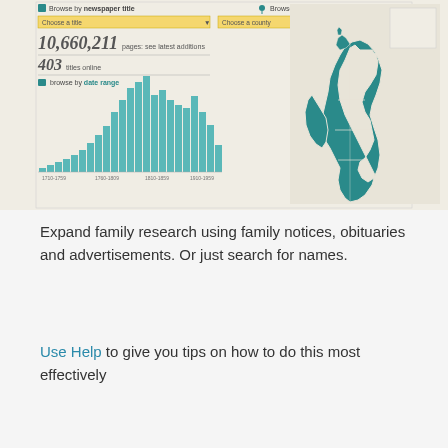[Figure (screenshot): Screenshot of a newspaper archive website showing browse options, 10,660,211 pages count, 403 titles online, a bar chart by date range (1700s-1950s), and a map of UK with teal highlighted regions]
Expand family research using family notices, obituaries and advertisements. Or just search for names.
Use Help to give you tips on how to do this most effectively